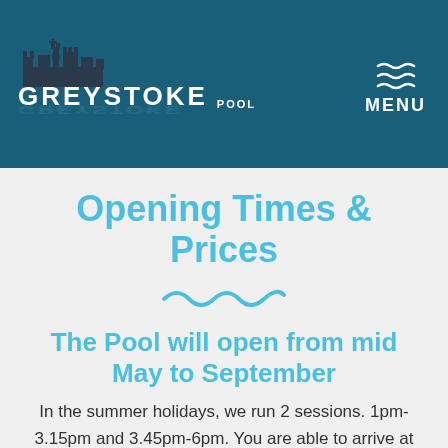GREYSTOKE POOL MENU
Opening Times & Prices
The Pool will open from mid May to September
In the summer holidays, we run 2 sessions. 1pm-3.15pm and 3.45pm-6pm. You are able to arrive at any point during one of these sessions but please note that the pool will be closed between 3.15pm and 3.45pm.